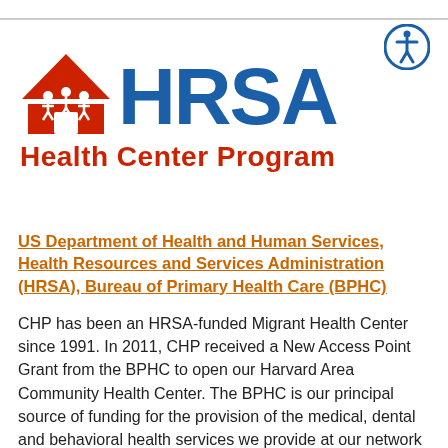[Figure (logo): HRSA Health Center Program logo with house/people icon in red and HRSA text in blue, with 'Health Center Program' in red below]
US Department of Health and Human Services, Health Resources and Services Administration (HRSA), Bureau of Primary Health Care (BPHC)
CHP has been an HRSA-funded Migrant Health Center since 1991. In 2011, CHP received a New Access Point Grant from the BPHC to open our Harvard Area Community Health Center. The BPHC is our principal source of funding for the provision of the medical, dental and behavioral health services we provide at our network of primary clinics, and for the health education/health promotion and case management services our staff provides to promote healthy behaviors and assure continuity of care for our patients.